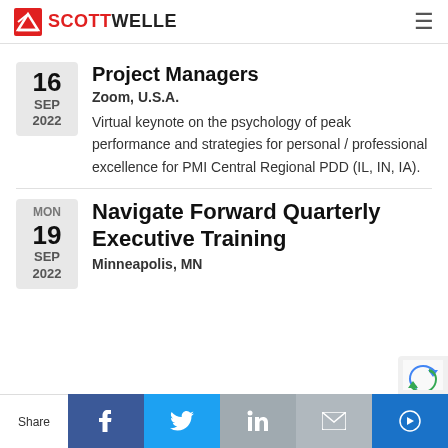SCOTTWELLE
Project Managers
Zoom, U.S.A.
Virtual keynote on the psychology of peak performance and strategies for personal / professional excellence for PMI Central Regional PDD (IL, IN, IA).
Navigate Forward Quarterly Executive Training
Minneapolis, MN
Share